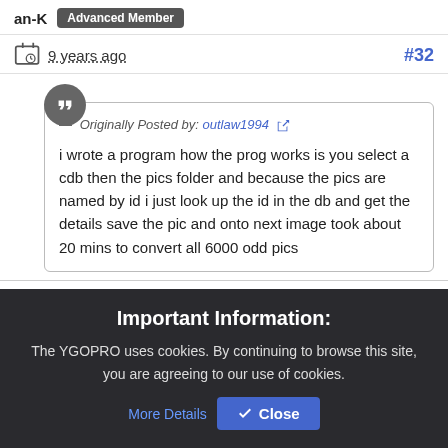an-K  Advanced Member
9 years ago  #32
— Originally Posted by: outlaw1994
i wrote a program how the prog works is you select a cdb then the pics folder and because the pics are named by id i just look up the id in the db and get the details save the pic and onto next image took about 20 mins to convert all 6000 odd pics
Important Information:
The YGOPRO uses cookies. By continuing to browse this site, you are agreeing to our use of cookies.  More Details  ✓ Close